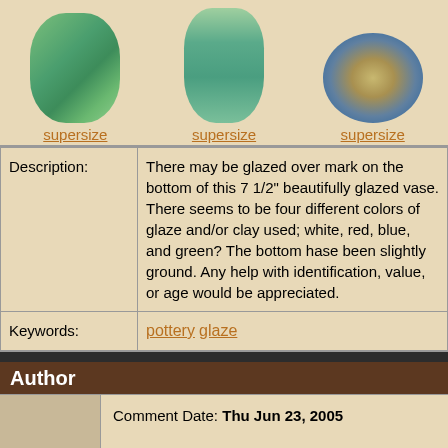[Figure (photo): Three photos of a glazed ceramic vase from different angles, with turquoise/green mottled glaze]
supersize supersize supersize
| Description: | There may be glazed over mark on the bottom of this 7 1/2" beautifully glazed vase. There seems to be four different colors of glaze and/or clay used; white, red, blue, and green? The bottom hase been slightly ground. Any help with identification, value, or age would be appreciated. |
| Keywords: | pottery glaze |
Author
Comment Date: Thu Jun 23, 2005

This vase may be an early Haeger vase. The geranium leaf mottling is definitely present in this handsome example.